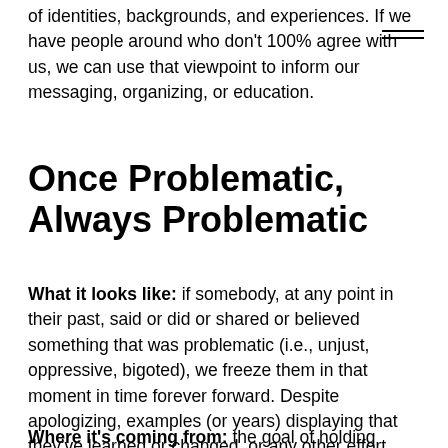of identities, backgrounds, and experiences. If we have people around who don't 100% agree with us, we can use that viewpoint to inform our messaging, organizing, or education.
Once Problematic, Always Problematic
What it looks like: if somebody, at any point in their past, said or did or shared or believed something that was problematic (i.e., unjust, oppressive, bigoted), we freeze them in that moment in time forever forward. Despite apologizing, examples (or years) displaying that they've learned or changed, or any other effort, when that person's name is mentioned, we are supposed to highlight their problematic past.
Where it's coming from: the goal of holding people